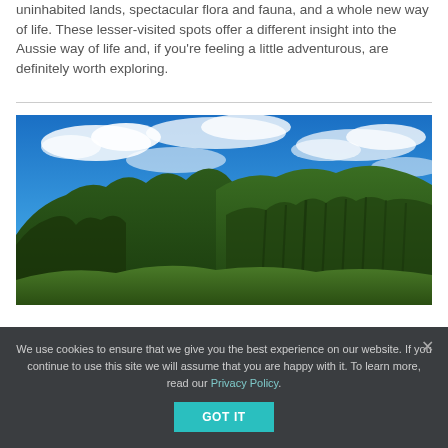uninhabited lands, spectacular flora and fauna, and a whole new way of life. These lesser-visited spots offer a different insight into the Aussie way of life and, if you're feeling a little adventurous, are definitely worth exploring.
[Figure (photo): Panoramic landscape photo of green rugged mountain ridges under a vivid blue sky with white clouds — likely a tropical or subtropical location.]
We use cookies to ensure that we give you the best experience on our website. If you continue to use this site we will assume that you are happy with it. To learn more, read our Privacy Policy.